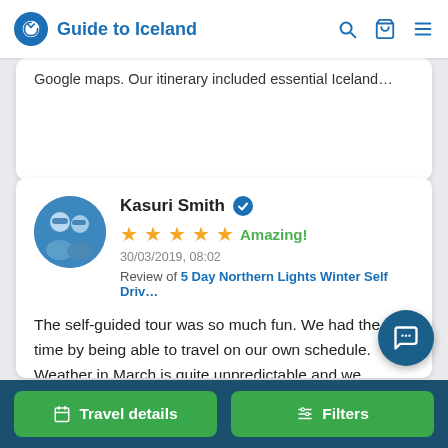Guide to Iceland
Google maps. Our itinerary included essential Iceland...
Kasuri Smith
★★★★★ Amazing!
30/03/2019, 08:02
Review of 5 Day Northern Lights Winter Self Driv...
The self-guided tour was so much fun. We had the best time by being able to travel on our own schedule. Weather in March is quite unpredictable and we learned that because the weather patterns change quickly you must